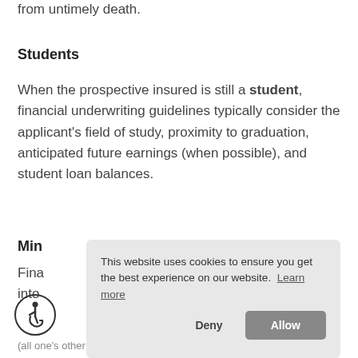from untimely death.
Students
When the prospective insured is still a student, financial underwriting guidelines typically consider the applicant's field of study, proximity to graduation, anticipated future earnings (when possible), and student loan balances.
Min
Fina
into
[Figure (other): Cookie consent banner overlay with text 'This website uses cookies to ensure you get the best experience on our website. Learn more' and two buttons: Deny and Allow]
[Figure (other): Accessibility icon (wheelchair user symbol) in bottom left corner]